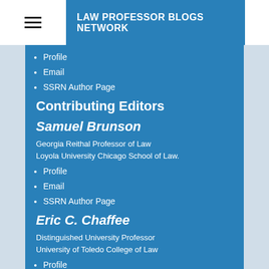LAW PROFESSOR BLOGS NETWORK
Profile
Email
SSRN Author Page
Contributing Editors
Samuel Brunson
Georgia Reithal Professor of Law
Loyola University Chicago School of Law.
Profile
Email
SSRN Author Page
Eric C. Chaffee
Distinguished University Professor
University of Toledo College of Law
Profile